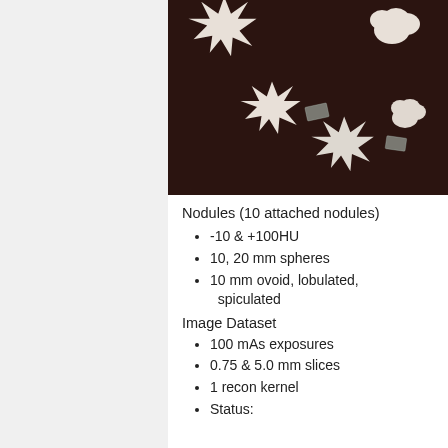[Figure (photo): Photo of 3D-printed lung nodule phantoms of various shapes (star/spiculated, lobulated, spherical) on a dark brown background, with small rectangular markers visible.]
Nodules (10 attached nodules)
-10 & +100HU
10, 20 mm spheres
10 mm ovoid, lobulated, spiculated
Image Dataset
100 mAs exposures
0.75 & 5.0 mm slices
1 recon kernel
Status: